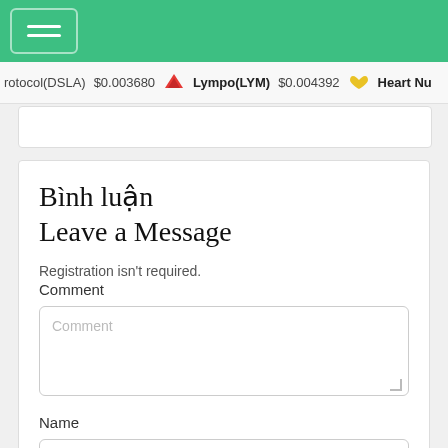rotocol(DSLA) $0.003680  Lympo(LYM) $0.004392  Heart Nu
Bình luận
Leave a Message
Registration isn't required.
Comment
Name
E-Mail